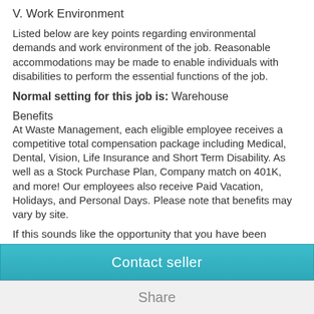V. Work Environment
Listed below are key points regarding environmental demands and work environment of the job. Reasonable accommodations may be made to enable individuals with disabilities to perform the essential functions of the job.
Normal setting for this job is: Warehouse
Benefits
At Waste Management, each eligible employee receives a competitive total compensation package including Medical, Dental, Vision, Life Insurance and Short Term Disability. As well as a Stock Purchase Plan, Company match on 401K, and more! Our employees also receive Paid Vacation, Holidays, and Personal Days. Please note that benefits may vary by site.
If this sounds like the opportunity that you have been looking for, please click "Apply.�
Contact seller
Share